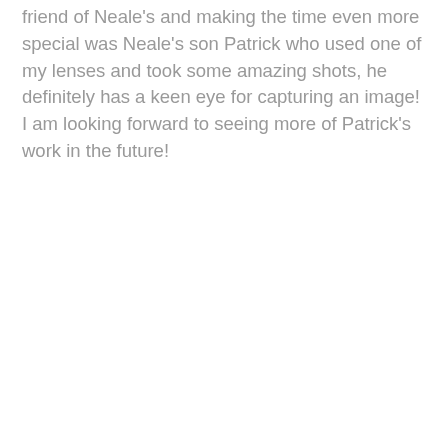friend of Neale's and making the time even more special was Neale's son Patrick who used one of my lenses and took some amazing shots, he definitely has a keen eye for capturing an image!  I am looking forward to seeing more of Patrick's work in the future!